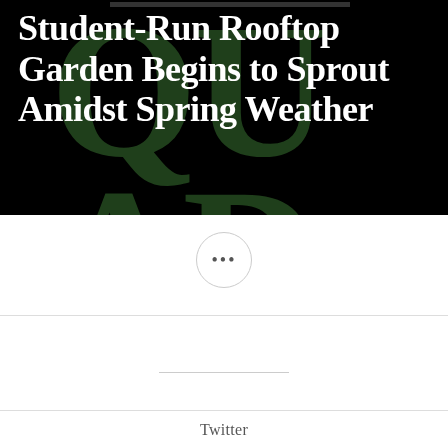[Figure (illustration): Black background hero image with large dark green 'QUAD' letters as watermark/background, overlaid with white bold serif article title text]
Student-Run Rooftop Garden Begins to Sprout Amidst Spring Weather
...
Twitter
Instagram